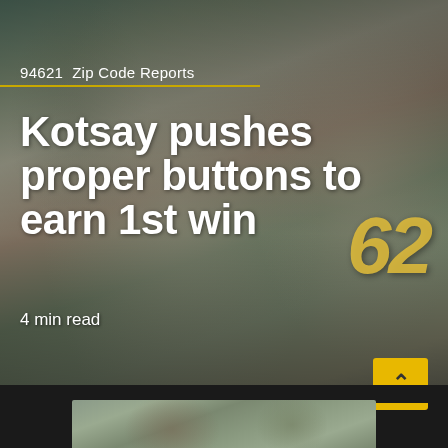[Figure (photo): Two Oakland Athletics baseball players in gray road uniforms smiling and celebrating, one wearing catcher gear, player number 62 visible on right]
94621  Zip Code Reports
Kotsay pushes proper buttons to earn 1st win
4 min read
[Figure (photo): Second photo strip showing baseball players, partially visible at bottom of page]